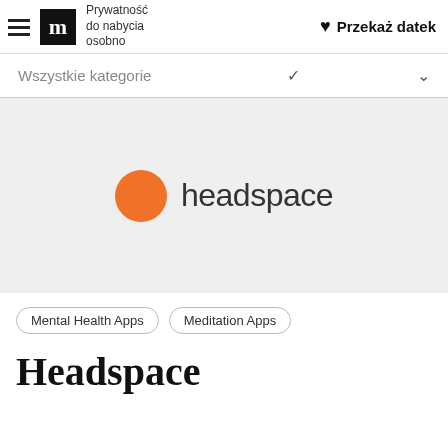Prywatność do nabycia osobno  ♥ Przekaż datek
Wszystkie kategorie
[Figure (logo): Headspace app logo: orange circle followed by the word 'headspace' in dark gray sans-serif font, on a light gray background]
Mental Health Apps
Meditation Apps
Headspace